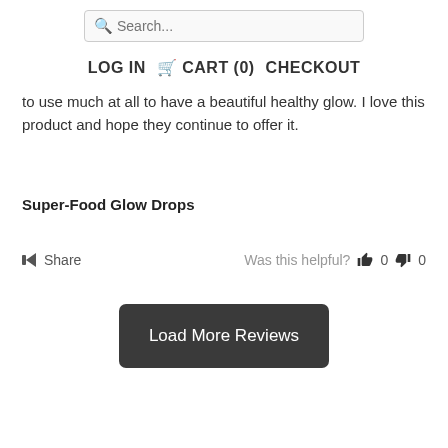Search...
LOG IN   CART (0)   CHECKOUT
to use much at all to have a beautiful healthy glow. I love this product and hope they continue to offer it.
Super-Food Glow Drops
Share   Was this helpful?   0   0
Load More Reviews